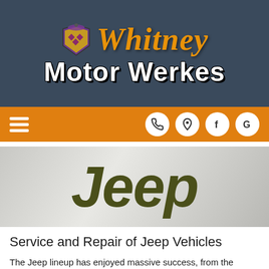[Figure (logo): Whitney Motor Werkes logo with medieval knight/crest emblem and orange gothic 'Whitney' text above bold white 'Motor Werkes' text on dark navy background]
[Figure (screenshot): Orange navigation bar with hamburger menu icon on left and four circular white icon buttons (phone, location pin, Facebook f, Google G) on right]
[Figure (logo): Jeep brand logo in dark olive/army green italic serif font on silver/grey gradient background]
Service and Repair of Jeep Vehicles
The Jeep lineup has enjoyed massive success, from the timeless Wrangler to the recently introduced Renegade. Read on to learn more about the model